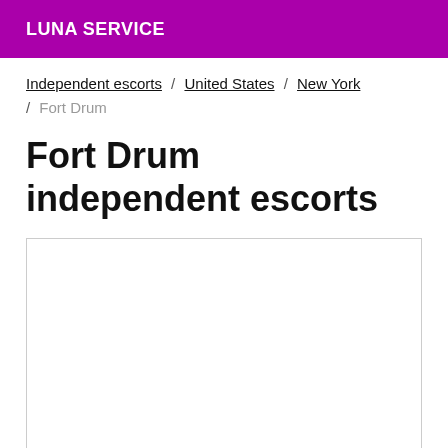LUNA SERVICE
Independent escorts / United States / New York / Fort Drum
Fort Drum independent escorts
[Figure (other): Empty white content box with light gray border]